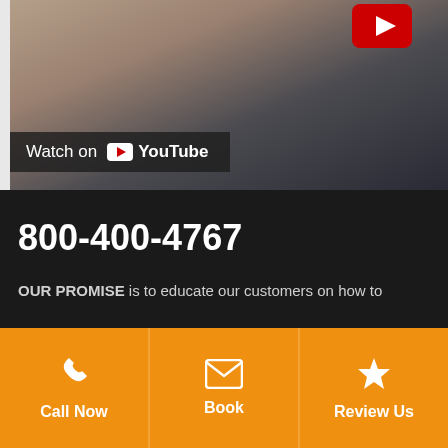[Figure (screenshot): YouTube video thumbnail showing a person's feet/legs on a sidewalk/ground with a YouTube play button in the top right and a 'Watch on YouTube' bar overlay at the bottom]
800-400-4767
OUR PROMISE is to educate our customers on how to
Call Now
Book
Review Us